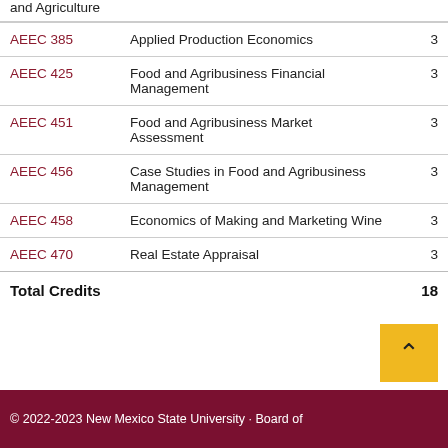| Code | Course Name | Credits |
| --- | --- | --- |
| AEEC 385 | Applied Production Economics | 3 |
| AEEC 425 | Food and Agribusiness Financial Management | 3 |
| AEEC 451 | Food and Agribusiness Market Assessment | 3 |
| AEEC 456 | Case Studies in Food and Agribusiness Management | 3 |
| AEEC 458 | Economics of Making and Marketing Wine | 3 |
| AEEC 470 | Real Estate Appraisal | 3 |
Total Credits                    18
© 2022-2023 New Mexico State University · Board of